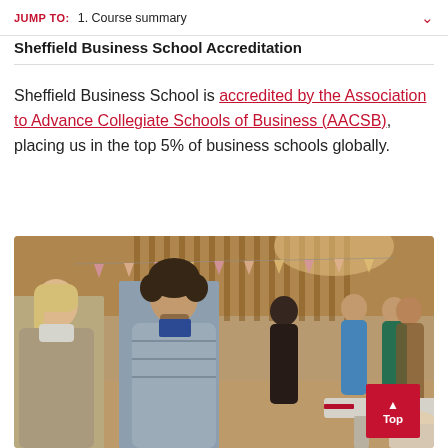JUMP TO:  1. Course summary
Sheffield Business School Accreditation
Sheffield Business School is accredited by the Association to Advance Collegiate Schools of Business (AACSB), placing us in the top 5% of business schools globally.
[Figure (photo): Students gathered at an indoor networking event at Sheffield Business School, with bunting decorations and wooden wall panelling in the background. Students in winter coats are conversing, with a busy event space visible behind them.]